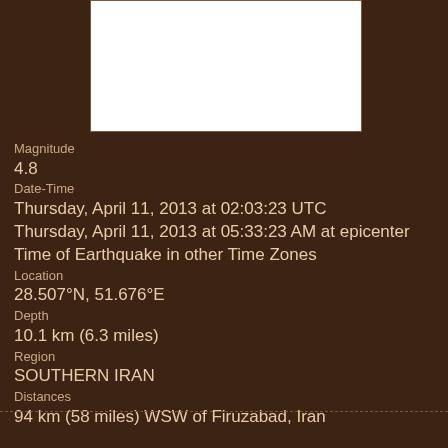[Figure (map): Map showing earthquake epicenter location in Southern Iran]
Magnitude
4.8
Date-Time
Thursday, April 11, 2013 at 02:03:23 UTC
Thursday, April 11, 2013 at 05:33:23 AM at epicenter
Time of Earthquake in other Time Zones
Location
28.507°N, 51.676°E
Depth
10.1 km (6.3 miles)
Region
SOUTHERN IRAN
Distances
94 km (58 miles) WSW of Firuzabad, Iran